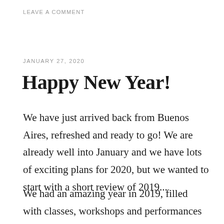LEAVE A COMMENT
JANUARY 27, 2020
Happy New Year!
We have just arrived back from Buenos Aires, refreshed and ready to go! We are already well into January and we have lots of exciting plans for 2020, but we wanted to start with a short review of 2019...
We had an amazing year in 2019, filled with classes, workshops and performances and would like to thank all our students and the